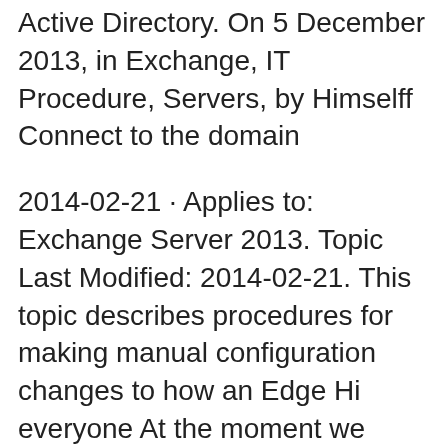Active Directory. On 5 December 2013, in Exchange, IT Procedure, Servers, by Himselff Connect to the domain
2014-02-21 · Applies to: Exchange Server 2013. Topic Last Modified: 2014-02-21. This topic describes procedures for making manual configuration changes to how an Edge Hi everyone At the moment we have two Exchange 2013 Remove dead Exchange 2013 server. If you cannot power on the old server and uninstall Exchange from
You can install and uninstall transport agents in Exchange Server 2013, Exchange Server An Edge Transport server uses the local instance of Active